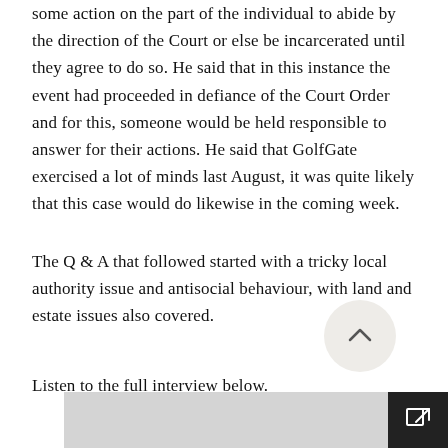some action on the part of the individual to abide by the direction of the Court or else be incarcerated until they agree to do so. He said that in this instance the event had proceeded in defiance of the Court Order and for this, someone would be held responsible to answer for their actions. He said that GolfGate exercised a lot of minds last August, it was quite likely that this case would do likewise in the coming week.
The Q & A that followed started with a tricky local authority issue and antisocial behaviour, with land and estate issues also covered.
Listen to the full interview below.
[Figure (other): Audio/media player bar at the bottom of the page with a dark external link icon on the right]